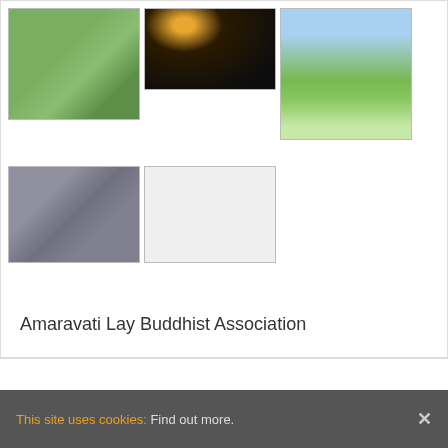[Figure (photo): Forest path with lush green trees and bluebells on the ground]
[Figure (photo): Nighttime photo of a building with a bright moon above]
[Figure (photo): Daytime photo of a green field with cherry blossom trees and a white stupa]
[Figure (photo): Indoor photo of a small framed picture on a windowsill]
[Figure (photo): White/light colored rectangular placeholder photo]
Amaravati Lay Buddhist Association
This site uses cookies: Find out more.